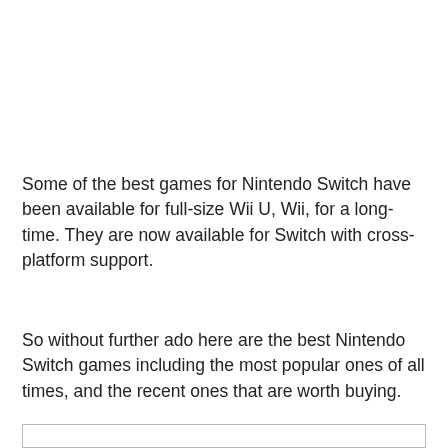Some of the best games for Nintendo Switch have been available for full-size Wii U, Wii, for a long-time. They are now available for Switch with cross-platform support.
So without further ado here are the best Nintendo Switch games including the most popular ones of all times, and the recent ones that are worth buying.